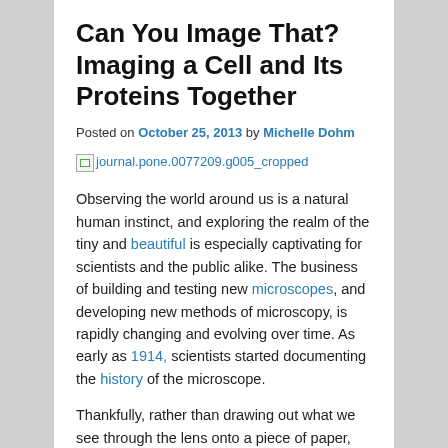Can You Image That? Imaging a Cell and Its Proteins Together
Posted on October 25, 2013 by Michelle Dohm
[Figure (photo): Broken image placeholder linking to journal.pone.0077209.g005_cropped]
Observing the world around us is a natural human instinct, and exploring the realm of the tiny and beautiful is especially captivating for scientists and the public alike. The business of building and testing new microscopes, and developing new methods of microscopy, is rapidly changing and evolving over time. As early as 1914, scientists started documenting the history of the microscope.
Thankfully, rather than drawing out what we see through the lens onto a piece of paper, there are now advanced forms of microscopy, like electron microscopy, that allow